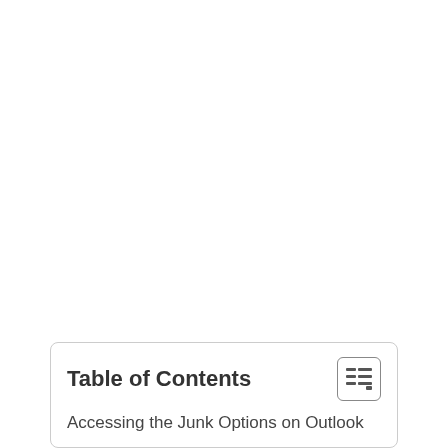Table of Contents
Accessing the Junk Options on Outlook